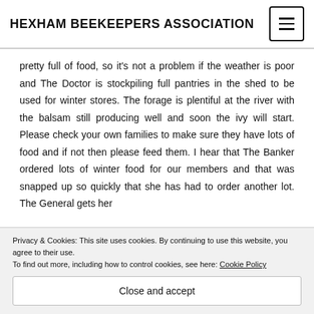HEXHAM BEEKEEPERS ASSOCIATION
pretty full of food, so it's not a problem if the weather is poor and The Doctor is stockpiling full pantries in the shed to be used for winter stores. The forage is plentiful at the river with the balsam still producing well and soon the ivy will start. Please check your own families to make sure they have lots of food and if not then please feed them. I hear that The Banker ordered lots of winter food for our members and that was snapped up so quickly that she has had to order another lot. The General gets her
Privacy & Cookies: This site uses cookies. By continuing to use this website, you agree to their use.
To find out more, including how to control cookies, see here: Cookie Policy
Close and accept